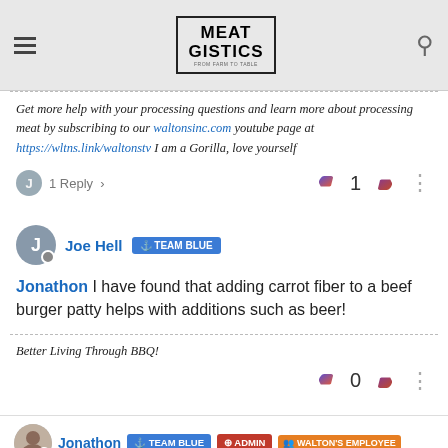MEATGISTICS
Get more help with your processing questions and learn more about processing meat by subscribing to our waltonsinc.com youtube page at https://wltns.link/waltonstv I am a Gorilla, love yourself
1 Reply
Joe Hell TEAM BLUE
Jonathon I have found that adding carrot fiber to a beef burger patty helps with additions such as beer!
Better Living Through BBQ!
Jonathon TEAM BLUE ADMIN WALTON'S EMPLOYEE POWER USER